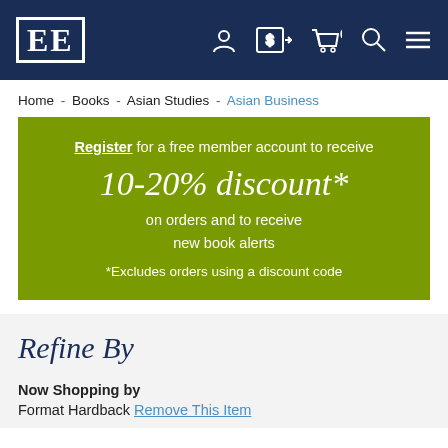EE [logo with navigation icons: account, currency, cart 0, search, menu]
Home - Books - Asian Studies - Asian Business
Register for a free member account to receive 10-20% discount* on orders and to receive new book alerts *Excludes orders using a discount code
Refine By
Now Shopping by
Format Hardback Remove This Item